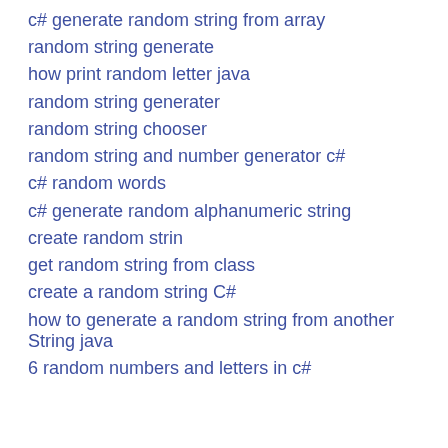c# generate random string from array
random string generate
how print random letter java
random string generater
random string chooser
random string and number generator c#
c# random words
c# generate random alphanumeric string
create random strin
get random string from class
create a random string C#
how to generate a random string from another String java
6 random numbers and letters in c#